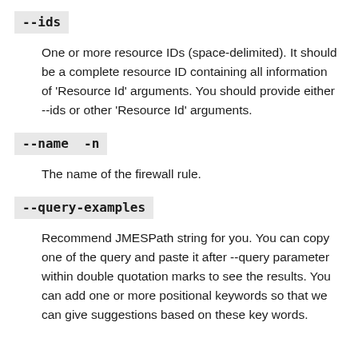--ids
One or more resource IDs (space-delimited). It should be a complete resource ID containing all information of 'Resource Id' arguments. You should provide either --ids or other 'Resource Id' arguments.
--name  -n
The name of the firewall rule.
--query-examples
Recommend JMESPath string for you. You can copy one of the query and paste it after --query parameter within double quotation marks to see the results. You can add one or more positional keywords so that we can give suggestions based on these key words.